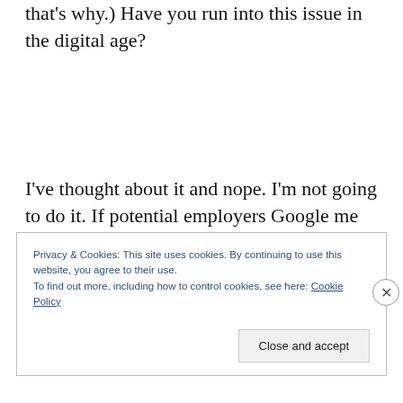that's why.) Have you run into this issue in the digital age?
I've thought about it and nope. I'm not going to do it. If potential employers Google me and don't like what they see, then they don't want me and I most definitely do not want them. And I am
Privacy & Cookies: This site uses cookies. By continuing to use this website, you agree to their use.
To find out more, including how to control cookies, see here: Cookie Policy
Close and accept